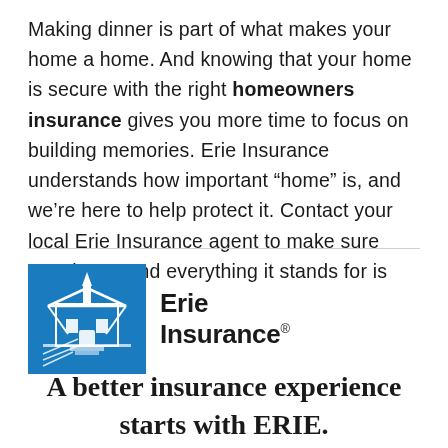Making dinner is part of what makes your home a home. And knowing that your home is secure with the right homeowners insurance gives you more time to focus on building memories. Erie Insurance understands how important “home” is, and we’re here to help protect it. Contact your local Erie Insurance agent to make sure your home and everything it stands for is protected.
[Figure (logo): Erie Insurance logo: blue square with white building/steeple illustration on the left, and 'Erie Insurance' bold text with registered trademark symbol on the right]
A better insurance experience starts with ERIE.